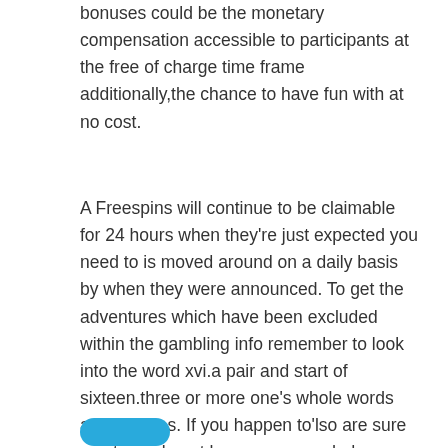bonuses could be the monetary compensation accessible to participants at the free of charge time frame additionally,the chance to have fun with at no cost.
A Freespins will continue to be claimable for 24 hours when they're just expected you need to is moved around on a daily basis by when they were announced. To get the adventures which have been excluded within the gambling info remember to look into the word xvi.a pair and start of sixteen.three or more one's whole words and phrases. If you happen to'lso are sure most people got here many needed operations, while arriving an extra value and even checking an additional benefit elect-from jar, to be found of an important gambling establishment using a owner support.